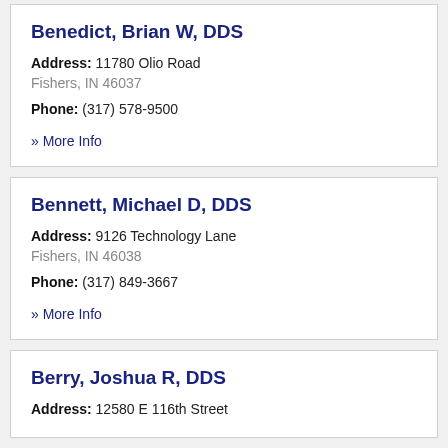Benedict, Brian W, DDS
Address: 11780 Olio Road
Fishers, IN 46037
Phone: (317) 578-9500
» More Info
Bennett, Michael D, DDS
Address: 9126 Technology Lane
Fishers, IN 46038
Phone: (317) 849-3667
» More Info
Berry, Joshua R, DDS
Address: 12580 E 116th Street